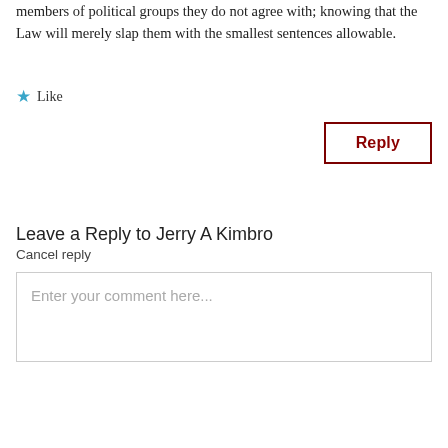members of political groups they do not agree with; knowing that the Law will merely slap them with the smallest sentences allowable.
★ Like
Reply
Leave a Reply to Jerry A Kimbro
Cancel reply
Enter your comment here...